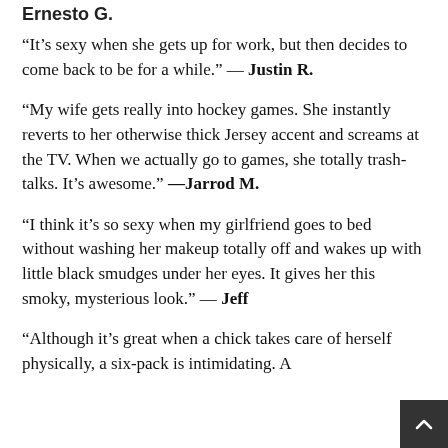Ernesto G.
"It's sexy when she gets up for work, but then decides to come back to be for a while." — Justin R.
"My wife gets really into hockey games. She instantly reverts to her otherwise thick Jersey accent and screams at the TV. When we actually go to games, she totally trash-talks. It's awesome." —Jarrod M.
"I think it's so sexy when my girlfriend goes to bed without washing her makeup totally off and wakes up with little black smudges under her eyes. It gives her this smoky, mysterious look." — Jeff
"Although it's great when a chick takes care of herself physically, a six-pack is intimidating. A